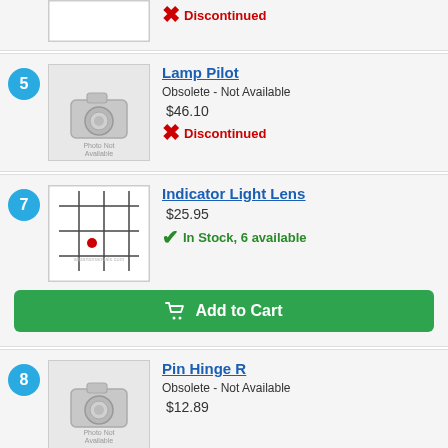[Figure (photo): Partial top row showing a product image placeholder (photo not available) and a red X Discontinued status]
Discontinued
5
[Figure (photo): Photo Not Available placeholder image]
Lamp Pilot
Obsolete - Not Available
$46.10
Discontinued
7
[Figure (photo): Product image showing a grid with a small red dot in center, watermarked]
Indicator Light Lens
$25.95
In Stock, 6 available
Add to Cart
8
[Figure (photo): Photo Not Available placeholder image]
Pin Hinge R
Obsolete - Not Available
$12.89